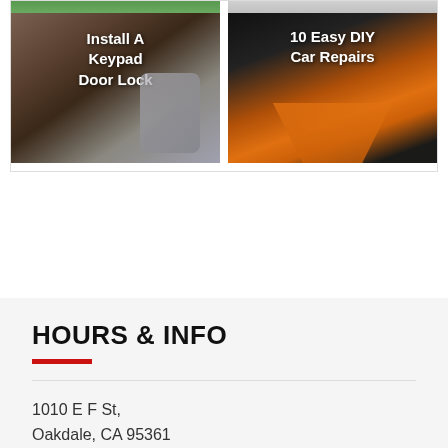[Figure (photo): Two thumbnail images in a grid: left shows a keypad door lock with text 'Install A Keypad Door Lock', right shows car oil being poured into a funnel with text '10 Easy DIY Car Repairs']
HOURS & INFO
1010 E F St,
Oakdale, CA 95361